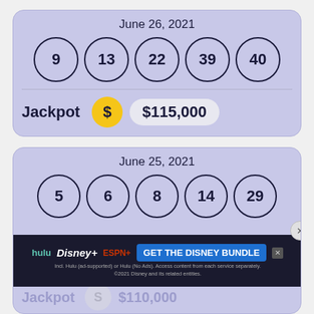June 26, 2021
[Figure (infographic): Five lottery balls showing numbers 9, 13, 22, 39, 40 on a purple background]
Jackpot  $  $115,000
June 25, 2021
[Figure (infographic): Five lottery balls showing numbers 5, 6, 8, 14, 29 on a purple background]
[Figure (infographic): Advertisement banner: hulu Disney+ ESPN+ GET THE DISNEY BUNDLE. Incl. Hulu (ad-supported) or Hulu (No Ads). Access content from each service separately. ©2021 Disney and its related entities.]
Jackpot  S  $110,000